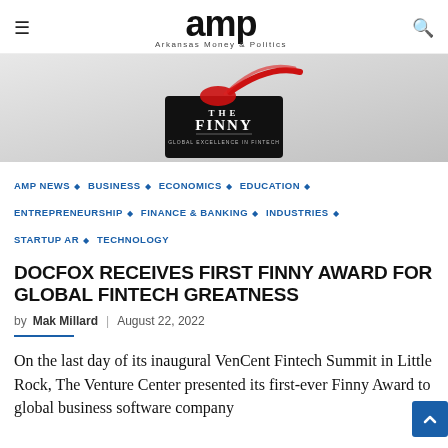amp — Arkansas Money & Politics
[Figure (photo): Hero image showing a black award trophy labeled 'THE FINNY — GLOBAL EXCELLENCE IN FINTECH' with a red ribbon/wax seal on top, against a light gray background.]
AMP NEWS ◆ BUSINESS ◆ ECONOMICS ◆ EDUCATION ◆ ENTREPRENEURSHIP ◆ FINANCE & BANKING ◆ INDUSTRIES ◆ STARTUP AR ◆ TECHNOLOGY
DOCFOX RECEIVES FIRST FINNY AWARD FOR GLOBAL FINTECH GREATNESS
by Mak Millard | August 22, 2022
On the last day of its inaugural VenCent Fintech Summit in Little Rock, The Venture Center presented its first-ever Finny Award to global business software company